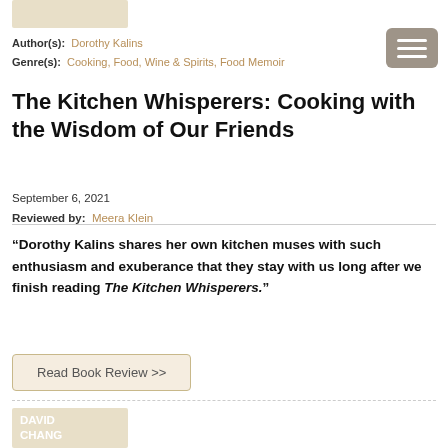[Figure (illustration): Top portion of a book cover with beige/tan background]
Author(s): Dorothy Kalins
Genre(s): Cooking, Food, Wine & Spirits, Food Memoir
The Kitchen Whisperers: Cooking with the Wisdom of Our Friends
September 6, 2021
Reviewed by: Meera Klein
“Dorothy Kalins shares her own kitchen muses with such enthusiasm and exuberance that they stay with us long after we finish reading The Kitchen Whisperers.”
Read Book Review >>
[Figure (illustration): Book cover for David Chang book showing author name and orange citrus fruit on beige background]